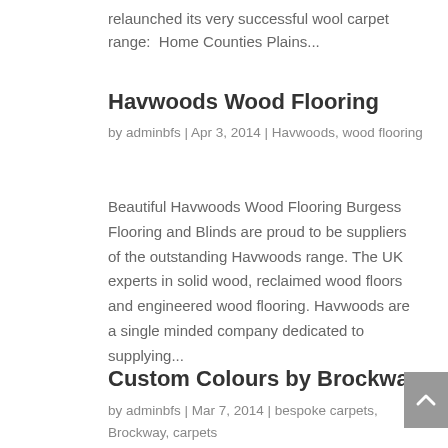relaunched its very successful wool carpet range:  Home Counties Plains...
Havwoods Wood Flooring
by adminbfs | Apr 3, 2014 | Havwoods, wood flooring
Beautiful Havwoods Wood Flooring Burgess Flooring and Blinds are proud to be suppliers of the outstanding Havwoods range. The UK experts in solid wood, reclaimed wood floors and engineered wood flooring. Havwoods are a single minded company dedicated to supplying...
Custom Colours by Brockway
by adminbfs | Mar 7, 2014 | bespoke carpets, Brockway, carpets